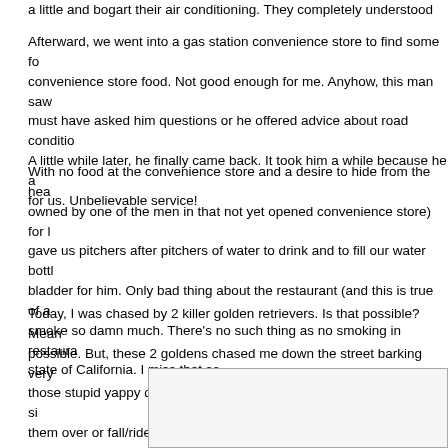a little and bogart their air conditioning. They completely understood and...
Afterward, we went into a gas station convenience store to find some food. convenience store food. Not good enough for me. Anyhow, this man saw... must have asked him questions or he offered advice about road conditions... A little while later, he finally came back. It took him a while because he a... for us. Unbelievable service!
With no food at the convenience store and a desire to hide from the hea... owned by one of the men in that not yet opened convenience store) for... gave us pitchers after pitchers of water to drink and to fill our water bottles... bladder for him. Only bad thing about the restaurant (and this is true of a... smoke so damn much. There's no such thing as no smoking in restaura... state of California. I miss that so.
Today, I was chased by 2 killer golden retrievers. Is that possible? Mean... possible. But, these 2 goldens chased me down the street barking very... those stupid yappy dogs from the past. They also cornered me to the si... them over or fall/ride off the side of the road. Luckily neither happened a... calls. Scary goldens. Here's a picture of the best golden retriever in the... eating that apple snack of his. Oh Arcea, I miss you!
[Figure (photo): A photo of a golden retriever, partially visible at the bottom right of the page.]